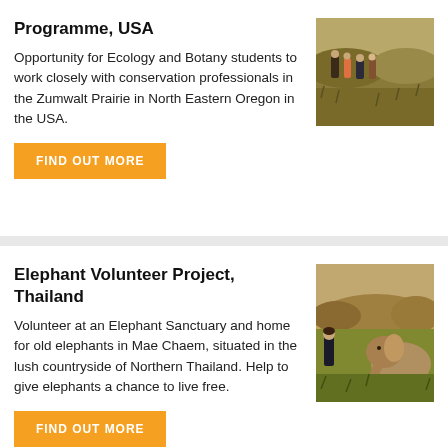Programme, USA
Opportunity for Ecology and Botany students to work closely with conservation professionals in the Zumwalt Prairie in North Eastern Oregon in the USA.
[Figure (photo): Group of people walking through grassland/prairie]
FIND OUT MORE
Elephant Volunteer Project, Thailand
Volunteer at an Elephant Sanctuary and home for old elephants in Mae Chaem, situated in the lush countryside of Northern Thailand. Help to give elephants a chance to live free.
[Figure (photo): Person interacting with an elephant in lush countryside]
FIND OUT MORE